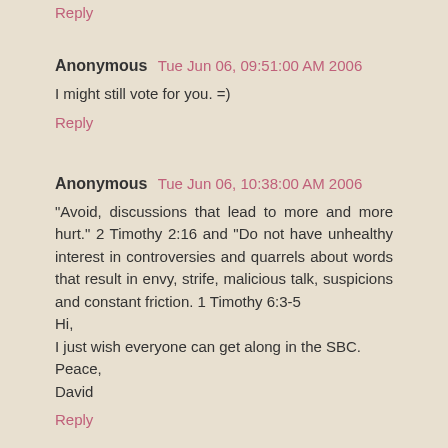Reply
Anonymous  Tue Jun 06, 09:51:00 AM 2006
I might still vote for you. =)
Reply
Anonymous  Tue Jun 06, 10:38:00 AM 2006
"Avoid, discussions that lead to more and more hurt." 2 Timothy 2:16 and "Do not have unhealthy interest in controversies and quarrels about words that result in envy, strife, malicious talk, suspicions and constant friction. 1 Timothy 6:3-5
Hi,
I just wish everyone can get along in the SBC.
Peace,
David
Reply